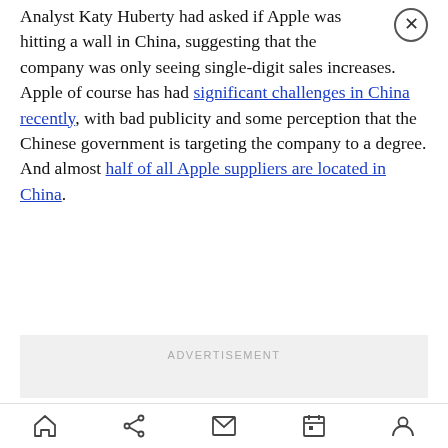Analyst Katy Huberty had asked if Apple was hitting a wall in China, suggesting that the company was only seeing single-digit sales increases. Apple of course has had significant challenges in China recently, with bad publicity and some perception that the Chinese government is targeting the company to a degree. And almost half of all Apple suppliers are located in China.
[Figure (other): Advertisement placeholder box with 'ADVERTISEMENT' label]